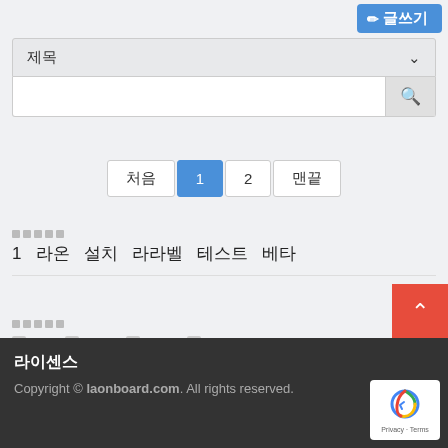[Figure (screenshot): Blue write/edit button with pencil icon and Korean text 글쓰기 (Write)]
[Figure (screenshot): Search filter row with dropdown showing 제목 (Title) and chevron, plus search input with magnifier button]
[Figure (screenshot): Pagination control: 처음 (First), 1 (active, blue), 2, 맨끝 (Last)]
1  라온  설치  라라벨  테스트  베타
□ 71  □ 163  □ 432  □ 331,156
라이센스
Copyright © laonboard.com. All rights reserved.